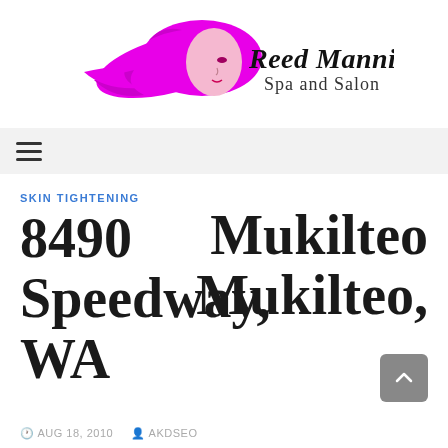[Figure (logo): Reed Manning Spa and Salon logo — magenta/pink stylized woman silhouette with flowing hair, cursive 'Reed Manning' text and 'Spa and Salon' subtitle in black]
≡
SKIN TIGHTENING
8490 Speedway, WA Mukilteo Mukilteo,
AUG 18, 2010  AKDSEO